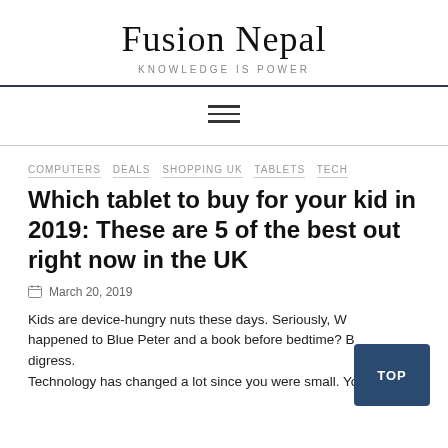Fusion Nepal
KNOWLEDGE IS POWER
Which tablet to buy for your kid in 2019: These are 5 of the best out right now in the UK
COMPUTERS  DEALS  SHOPPING UK  TABLETS  TECH
March 20, 2019
Kids are device-hungry nuts these days. Seriously, What happened to Blue Peter and a book before bedtime? But I digress.
Technology has changed a lot since you were small. Your kids